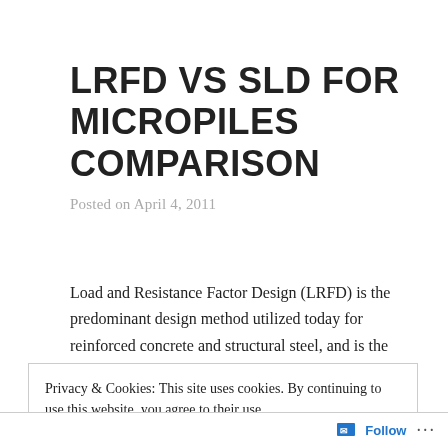LRFD VS SLD FOR MICROPILES COMPARISON
Posted on April 4, 2011
Load and Resistance Factor Design (LRFD) is the predominant design method utilized today for reinforced concrete and structural steel, and is the primary focus of the relatively new AASHTO LRFD
Privacy & Cookies: This site uses cookies. By continuing to use this website, you agree to their use.
To find out more, including how to control cookies, see here: Cookie Policy
Close and accept